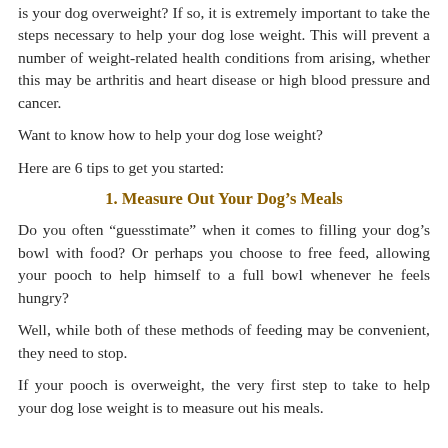is your dog overweight? If so, it is extremely important to take the steps necessary to help your dog lose weight. This will prevent a number of weight-related health conditions from arising, whether this may be arthritis and heart disease or high blood pressure and cancer.
Want to know how to help your dog lose weight?
Here are 6 tips to get you started:
1. Measure Out Your Dog's Meals
Do you often “guesstimate” when it comes to filling your dog’s bowl with food? Or perhaps you choose to free feed, allowing your pooch to help himself to a full bowl whenever he feels hungry?
Well, while both of these methods of feeding may be convenient, they need to stop.
If your pooch is overweight, the very first step to take to help your dog lose weight is to measure out his meals.